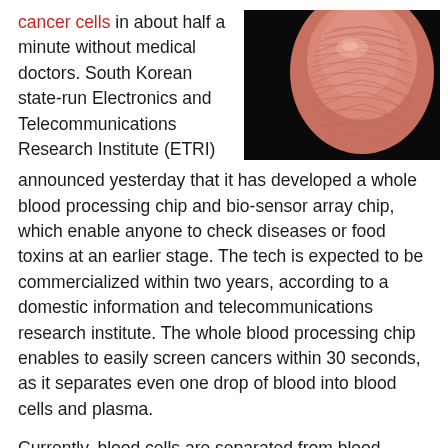cancer cells in about half a minute without medical doctors. South Korean state-run Electronics and Telecommunications Research Institute (ETRI) announced yesterday that it has developed a whole blood processing chip and bio-sensor array chip, which enable anyone to check diseases or food toxins at an earlier stage. The tech is expected to be commercialized within two years, according to a domestic information and telecommunications research institute. The whole blood processing chip enables to easily screen cancers within 30 seconds, as it separates even one drop of blood into blood cells and plasma.
[Figure (photo): Close-up photograph of a human fingertip against a black background, showing fingerprint ridges in detail. The skin appears pink/flesh-toned.]
Currently, blood cells are separated from blood plasma by using a centrifugal separator, but it requires complicate procedure over a long time with the participation of